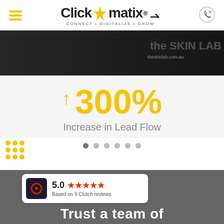Clickmatix® — CONNECT · DIGITALIZE · GROW
[Figure (screenshot): Dark banner image with theskinlab.com.au branding text visible]
↑ 300%
Increase in Lead Flow
[Figure (other): Pagination dots — 6 dots, first one active/dark, rest light grey]
[Figure (other): Yellow decorative dot grid pattern on lower left]
[Figure (other): Clutch badge showing 5.0 rating with 5 red stars and text 'Based on 9 Clutch reviews']
Trust a team of